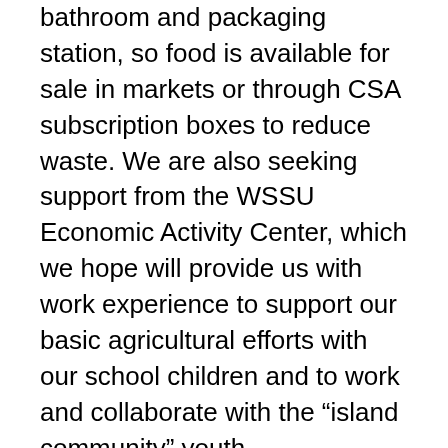bathroom and packaging station, so food is available for sale in markets or through CSA subscription boxes to reduce waste. We are also seeking support from the WSSU Economic Activity Center, which we hope will provide us with work experience to support our basic agricultural efforts with our school children and to work and collaborate with the “island community” youth.
As we move forward, “community resource mobilization” and our vision: a rich network of synergetic communities, an “matrix” matrix, will lead to innovative, research-based, community-led, healthy, equitable local economies. We want to create spaces for cultural and economic integration, experimentation, implementation and